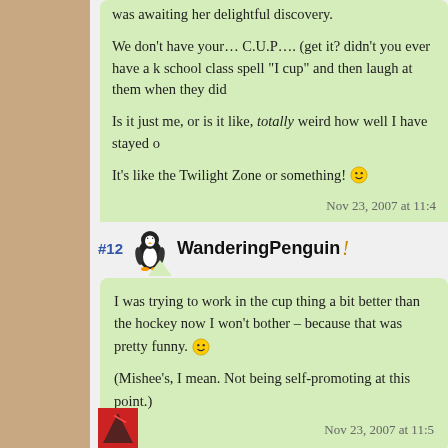was awaiting her delightful discovery.
We don’t have your… C.U.P.…. (get it? didn’t you ever have a k school class spell “I cup” and then laugh at them when they did
Is it just me, or is it like, totally weird how well I have stayed o
It’s like the Twilight Zone or something! 😃
Nov 23, 2007 at 11:4
#12 WanderingPenguin !
I was trying to work in the cup thing a bit better than the hockey now I won’t bother – because that was pretty funny. 😃
(Mishee’s, I mean. Not being self-promoting at this point.)
Nov 23, 2007 at 11:5